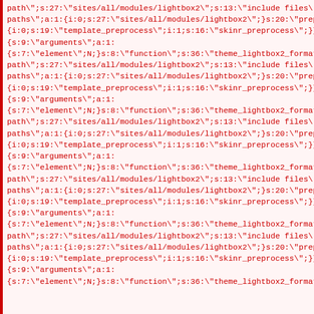path";s:27:"sites/all/modules/lightbox2";s:13:"include files";a:1:{i:0: paths";a:1:{i:0;s:27:"sites/all/modules/lightbox2";}s:20:"preprocess {i:0;s:19:"template_preprocess";i:1;s:16:"skinr_preprocess";}}s:68:" {s:9:"arguments";a:1: {s:7:"element";N;}s:8:"function";s:36:"theme_lightbox2_formatter_i path";s:27:"sites/all/modules/lightbox2";s:13:"include files";a:1:{i:0: paths";a:1:{i:0;s:27:"sites/all/modules/lightbox2";}s:20:"preprocess f {i:0;s:19:"template_preprocess";i:1;s:16:"skinr_preprocess";}}s:61:" {s:9:"arguments";a:1: {s:7:"element";N;}s:8:"function";s:36:"theme_lightbox2_formatter_i path";s:27:"sites/all/modules/lightbox2";s:13:"include files";a:1:{i:0: paths";a:1:{i:0;s:27:"sites/all/modules/lightbox2";}s:20:"preprocess f {i:0;s:19:"template_preprocess";i:1;s:16:"skinr_preprocess";}}s:69:" {s:9:"arguments";a:1: {s:7:"element";N;}s:8:"function";s:36:"theme_lightbox2_formatter_i path";s:27:"sites/all/modules/lightbox2";s:13:"include files";a:1:{i:0: paths";a:1:{i:0;s:27:"sites/all/modules/lightbox2";}s:20:"preprocess f {i:0;s:19:"template_preprocess";i:1;s:16:"skinr_preprocess";}}s:58:" {s:9:"arguments";a:1: {s:7:"element";N;}s:8:"function";s:36:"theme_lightbox2_formatter_i path";s:27:"sites/all/modules/lightbox2";s:13:"include files";a:1:{i:0: paths";a:1:{i:0;s:27:"sites/all/modules/lightbox2";}s:20:"preprocess f {i:0;s:19:"template_preprocess";i:1;s:16:"skinr_preprocess";}}s:56:" {s:9:"arguments";a:1: {s:7:"element";N;}s:8:"function";s:36:"theme_lightbox2_formatter_i